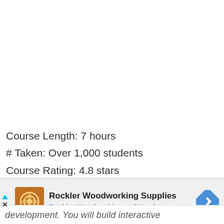Course Length: 7 hours
# Taken: Over 1,000 students
Course Rating: 4.8 stars
[Figure (other): Advertisement banner for Rockler Woodworking Supplies showing logo, title, subtitle 'Rockler Woodworking and Hardware ...', and a navigation icon]
development. You will build interactive